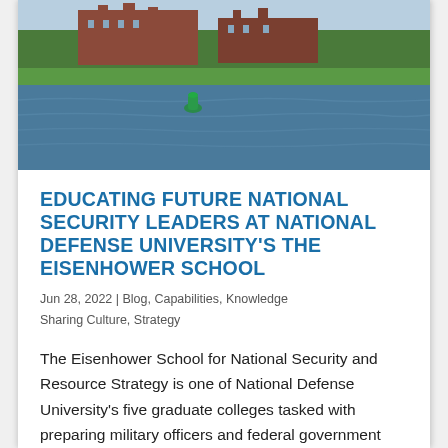[Figure (photo): Aerial or waterfront view of a brick university campus building with trees and a body of water in the foreground, with a green buoy visible in the water]
EDUCATING FUTURE NATIONAL SECURITY LEADERS AT NATIONAL DEFENSE UNIVERSITY'S THE EISENHOWER SCHOOL
Jun 28, 2022 | Blog, Capabilities, Knowledge Sharing Culture, Strategy
The Eisenhower School for National Security and Resource Strategy is one of National Defense University's five graduate colleges tasked with preparing military officers and federal government